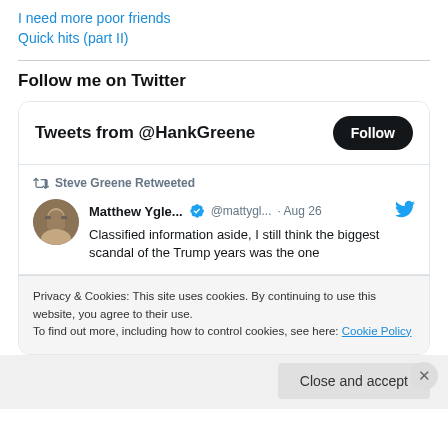I need more poor friends
Quick hits (part II)
Follow me on Twitter
[Figure (screenshot): Twitter widget showing 'Tweets from @HankGreene' with a Follow button, and a retweet by Steve Greene of Matthew Yglesias (@mattygl...) from Aug 26 saying 'Classified information aside, I still think the biggest scandal of the Trump years was the one']
Privacy & Cookies: This site uses cookies. By continuing to use this website, you agree to their use. To find out more, including how to control cookies, see here: Cookie Policy
Close and accept